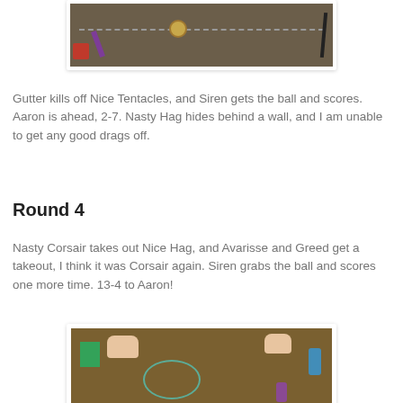[Figure (photo): Top-down view of a tabletop board game in progress, showing game pieces, red dice, a purple bar, and a coin on a dark brown game board with a dashed circular line.]
Gutter kills off Nice Tentacles, and Siren gets the ball and scores. Aaron is ahead, 2-7. Nasty Hag hides behind a wall, and I am unable to get any good drags off.
Round 4
Nasty Corsair takes out Nice Hag, and Avarisse and Greed get a takeout, I think it was Corsair again. Siren grabs the ball and scores one more time. 13-4 to Aaron!
[Figure (photo): Bird's-eye view of a tabletop miniature game board. Hands are visible moving pieces. A circular pattern is visible on the dark brown board, with various miniature figures and a green card visible.]